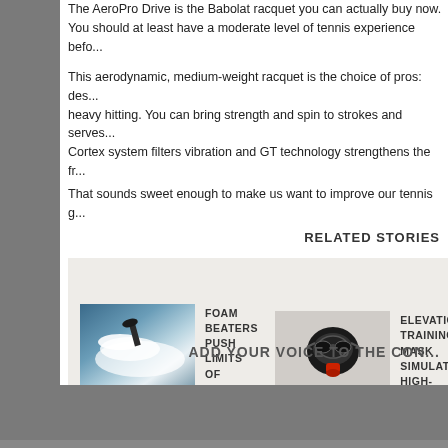The AeroPro Drive is the Babolat racquet you can actually buy now. You should at least have a moderate level of tennis experience befo...
This aerodynamic, medium-weight racquet is the choice of pros: des... heavy hitting. You can bring strength and spin to strokes and serves... Cortex system filters vibration and GT technology strengthens the fr...
That sounds sweet enough to make us want to improve our tennis g...
RELATED STORIES
[Figure (photo): Surfer performing extreme trick surfing with foam spray]
FOAM BEATERS PUSH LIMITS OF EXTREME TRICK SURFING
[Figure (photo): Elevation training mask - black gas mask style with red valve]
ELEVATION TRAINING MASK SIMULATES HIGH-ALTITUDE WORKOUTS
ADD YOUR VOICE TO THE CON...